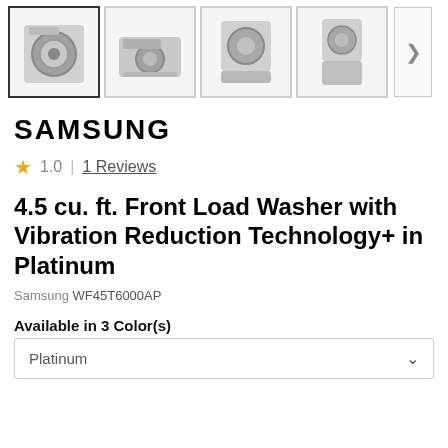[Figure (screenshot): Row of 4 product thumbnail images of a Samsung front-load washer (silver/platinum color) from different angles, with a next arrow button on the right. First thumbnail is selected with a bold border.]
SAMSUNG
1.0  |  1 Reviews
4.5 cu. ft. Front Load Washer with Vibration Reduction Technology+ in Platinum
Samsung WF45T6000AP
Available in 3 Color(s)
Platinum